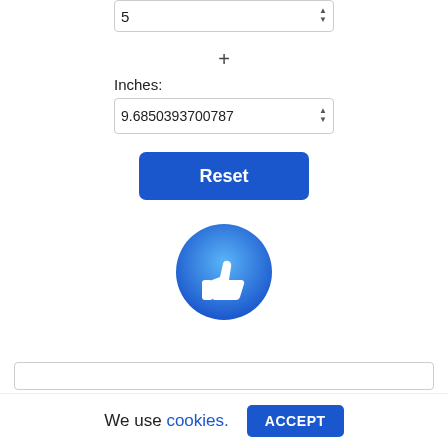[Figure (screenshot): Numeric spinner input box showing value 5 with up/down arrows]
+
Inches:
[Figure (screenshot): Numeric spinner input box showing value 9.6850393700787 with up/down arrows]
[Figure (screenshot): Blue Reset button]
[Figure (illustration): Blue circle with white thumbs up icon]
[Figure (screenshot): Partially visible input box at bottom]
We use cookies. ACCEPT